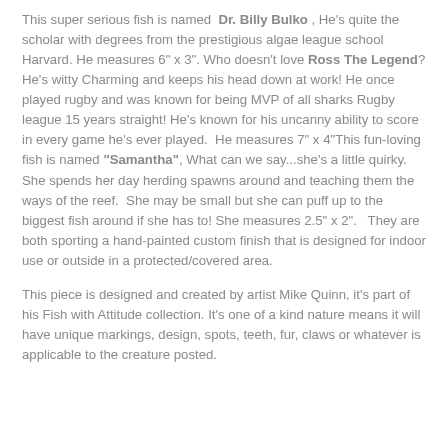This super serious fish is named "Dr. Billy Bulko", He's quite the scholar with degrees from the prestigious algae league school Harvard. He measures 6" x 3". Who doesn't love Ross The Legend? He's witty Charming and keeps his head down at work! He once played rugby and was known for being MVP of all sharks Rugby league 15 years straight! He's known for his uncanny ability to score in every game he's ever played. He measures 7" x 4"This fun-loving fish is named "Samantha", What can we say...she's a little quirky. She spends her day herding spawns around and teaching them the ways of the reef. She may be small but she can puff up to the biggest fish around if she has to! She measures 2.5" x 2". They are both sporting a hand-painted custom finish that is designed for indoor use or outside in a protected/covered area.
This piece is designed and created by artist Mike Quinn, it's part of his Fish with Attitude collection. It's one of a kind nature means it will have unique markings, design, spots, teeth, fur, claws or whatever is applicable to the creature posted.